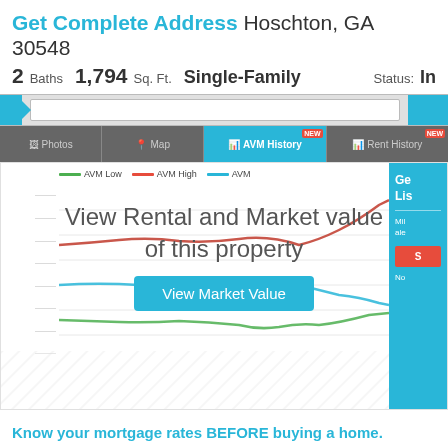Get Complete Address Hoschton, GA 30548
2 Baths   1,794 Sq. Ft.   Single-Family   Status: In
[Figure (screenshot): Navigation bar with search input and blue button]
[Figure (line-chart): Line chart showing AVM Low (green), AVM High (red), and AVM (blue) over time, overlaid with 'View Rental and Market value of this property' text and 'View Market Value' button. Y-axis shows home value ranges. Bottom area is hatched/blurred.]
Know your mortgage rates BEFORE buying a home. Check your rate Now.
Property Information